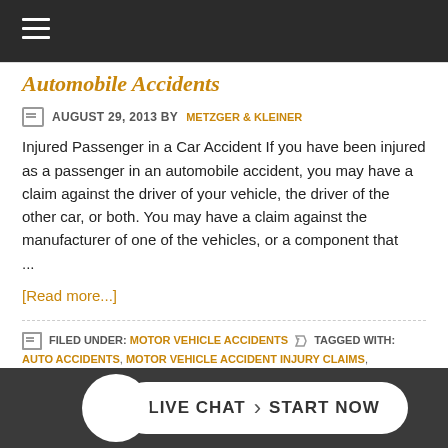Automobile Accidents
AUGUST 29, 2013 BY METZGER & KLEINER
Injured Passenger in a Car Accident If you have been injured as a passenger in an automobile accident, you may have a claim against the driver of your vehicle, the driver of the other car, or both. You may have a claim against the manufacturer of one of the vehicles, or a component that ...
[Read more...]
FILED UNDER: MOTOR VEHICLE ACCIDENTS   TAGGED WITH: AUTO ACCIDENTS, MOTOR VEHICLE ACCIDENT INJURY CLAIMS, PASSENGER INJURIES, PERSOANL INJURY, PERSONAL INJURY LIABILITY, PHILADELPHIA CAR ACCIDENT ATTORNEYS